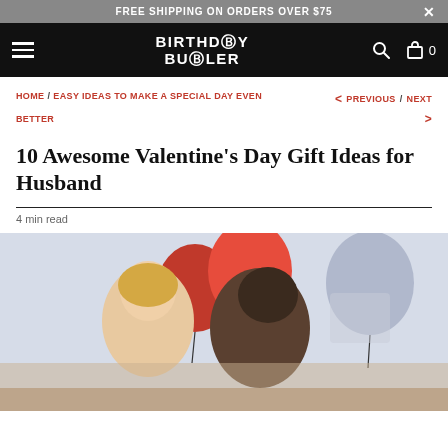FREE SHIPPING ON ORDERS OVER $75
BIRTHDAY BUTLER
HOME / EASY IDEAS TO MAKE A SPECIAL DAY EVEN BETTER    < PREVIOUS / NEXT >
10 Awesome Valentine's Day Gift Ideas for Husband
4 min read
[Figure (photo): A couple embracing romantically with red and white balloons in the background]